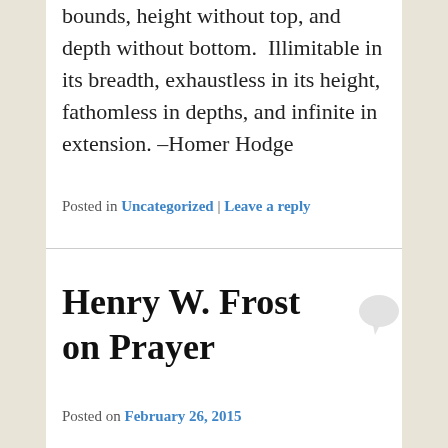bounds, height without top, and depth without bottom.  Illimitable in its breadth, exhaustless in its height, fathomless in depths, and infinite in extension. –Homer Hodge
Posted in Uncategorized | Leave a reply
Henry W. Frost on Prayer
Posted on February 26, 2015